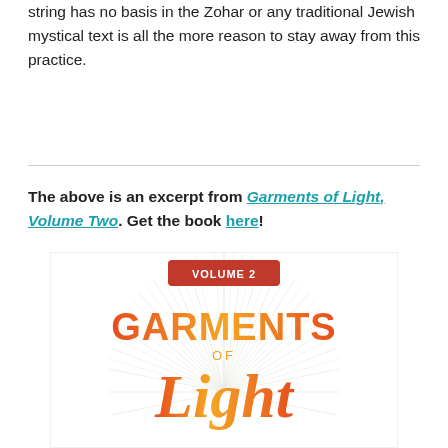string has no basis in the Zohar or any traditional Jewish mystical text is all the more reason to stay away from this practice.
The above is an excerpt from Garments of Light, Volume Two. Get the book here!
[Figure (illustration): Book cover for Garments of Light Volume 2, showing a sunburst design with the title text in red/orange gradient colors on a white background, with a red banner reading VOLUME 2 at the top.]